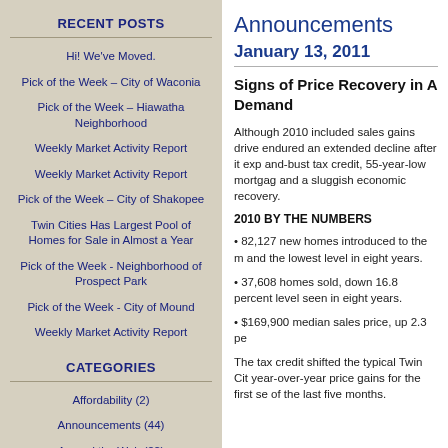RECENT POSTS
Hi! We've Moved.
Pick of the Week – City of Waconia
Pick of the Week – Hiawatha Neighborhood
Weekly Market Activity Report
Weekly Market Activity Report
Pick of the Week – City of Shakopee
Twin Cities Has Largest Pool of Homes for Sale in Almost a Year
Pick of the Week - Neighborhood of Prospect Park
Pick of the Week - City of Mound
Weekly Market Activity Report
CATEGORIES
Affordability (2)
Announcements (44)
Around the Web (22)
Announcements
January 13, 2011
Signs of Price Recovery in Demand
Although 2010 included sales gains drive endured an extended decline after it exp and-bust tax credit, 55-year-low mortgag and a sluggish economic recovery.
2010 BY THE NUMBERS
82,127 new homes introduced to the m and the lowest level in eight years.
37,608 homes sold, down 16.8 percent level seen in eight years.
$169,900 median sales price, up 2.3 pe
The tax credit shifted the typical Twin Cit year-over-year price gains for the first se of the last five months.